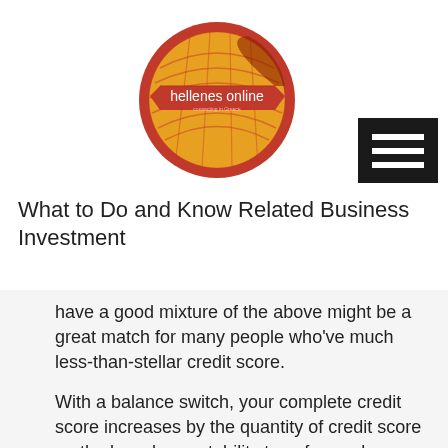[Figure (logo): Hellenes Online circular logo with red and yellow design, red banner across center reading 'hellenes online']
What to Do and Know Related Business Investment
have a good mixture of the above might be a great match for many people who've much less-than-stellar credit score.
With a balance switch, your complete credit score increases by the quantity of credit score on the brand new stability transfer card.